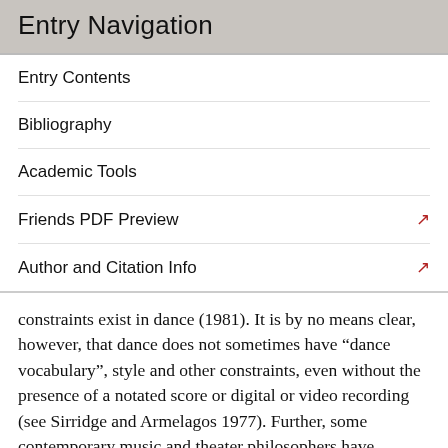Entry Navigation
Entry Contents
Bibliography
Academic Tools
Friends PDF Preview
Author and Citation Info
constraints exist in dance (1981). It is by no means clear, however, that dance does not sometimes have “dance vocabulary”, style and other constraints, even without the presence of a notated score or digital or video recording (see Sirridge and Armelagos 1977). Further, some contemporary music and theater philosophers have stressed the importance of performance as well, and this suggests that the constraints of the various arts may not be their most important features (see Gould and Keaton 2000, J. R. Hamilton 2007, Osipovich 2006, Saltz 2001 and Thom 1993.)